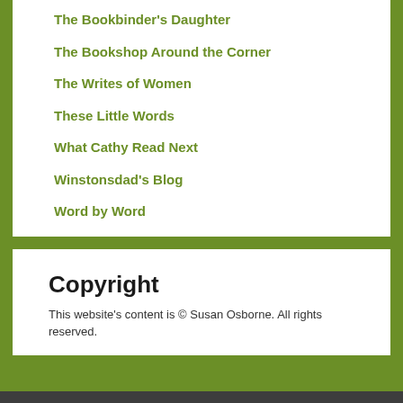The Bookbinder's Daughter
The Bookshop Around the Corner
The Writes of Women
These Little Words
What Cathy Read Next
Winstonsdad's Blog
Word by Word
Copyright
This website's content is © Susan Osborne. All rights reserved.
Copyright © Susan Osborne 2022 A life in books | Powered by